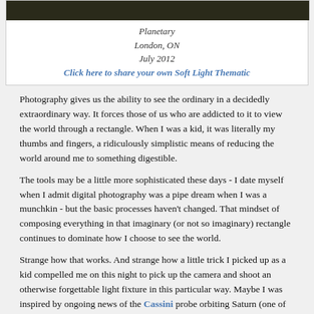[Figure (photo): Dark photographic image at top of page, partially cropped]
Planetary
London, ON
July 2012
Click here to share your own Soft Light Thematic
Photography gives us the ability to see the ordinary in a decidedly extraordinary way. It forces those of us who are addicted to it to view the world through a rectangle. When I was a kid, it was literally my thumbs and fingers, a ridiculously simplistic means of reducing the world around me to something digestible.
The tools may be a little more sophisticated these days - I date myself when I admit digital photography was a pipe dream when I was a munchkin - but the basic processes haven't changed. That mindset of composing everything in that imaginary (or not so imaginary) rectangle continues to dominate how I choose to see the world.
Strange how that works. And strange how a little trick I picked up as a kid compelled me on this night to pick up the camera and shoot an otherwise forgettable light fixture in this particular way. Maybe I was inspired by ongoing news of the Cassini probe orbiting Saturn (one of the coolest space stories going, btw.) Or maybe I just needed to feel good about life. Whatever it is that makes me take pictures like this, I'm glad the addiction remains strong in me. And in you, too.
Your turn: Can you make a rectangle with your index fingers and thumbs and let us know what you see right now?